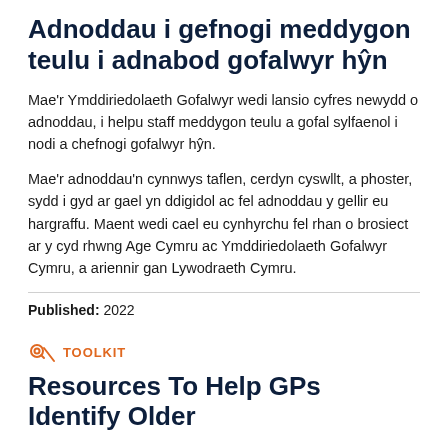Adnoddau i gefnogi meddygon teulu i adnabod gofalwyr hŷn
Mae'r Ymddiriedolaeth Gofalwyr wedi lansio cyfres newydd o adnoddau, i helpu staff meddygon teulu a gofal sylfaenol i nodi a chefnogi gofalwyr hŷn.
Mae'r adnoddau'n cynnwys taflen, cerdyn cyswllt, a phoster, sydd i gyd ar gael yn ddigidol ac fel adnoddau y gellir eu hargraffu. Maent wedi cael eu cynhyrchu fel rhan o brosiect ar y cyd rhwng Age Cymru ac Ymddiriedolaeth Gofalwyr Cymru, a ariennir gan Lywodraeth Cymru.
Published: 2022
TOOLKIT
Resources To Help GPs Identify Older